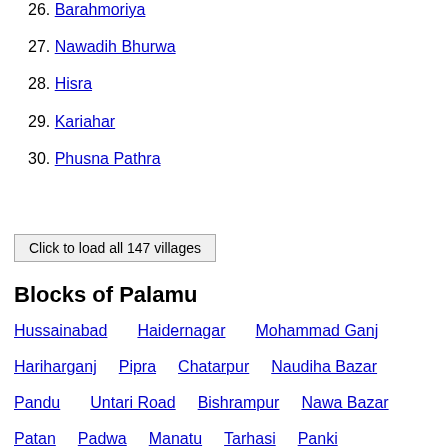26. Barahmoriya
27. Nawadih Bhurwa
28. Hisra
29. Kariahar
30. Phusna Pathra
Click to load all 147 villages
Blocks of Palamu
Hussainabad  Haidernagar  Mohammad Ganj
Hariharganj  Pipra  Chatarpur  Naudiha Bazar
Pandu  Untari Road  Bishrampur  Nawa Bazar
Patan  Padwa  Manatu  Tarhasi  Panki